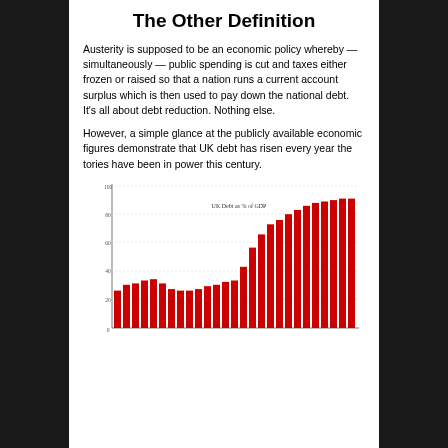The Other Definition
Austerity is supposed to be an economic policy whereby — simultaneously — public spending is cut and taxes either frozen or raised so that a nation runs a current account surplus which is then used to pay down the national debt. It's all about debt reduction. Nothing else.
However, a simple glance at the publicly available economic figures demonstrate that UK debt has risen every year the tories have been in power this century.
[Figure (bar-chart): UK Debt as % of GDP]